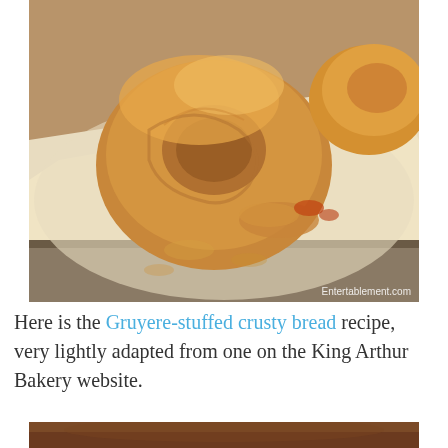[Figure (photo): Close-up photo of golden-brown Gruyere-stuffed crusty bread bagels/rolls on parchment paper on a baking sheet, with melted cheese visible. Watermark reads 'Entertablement.com'.]
Here is the Gruyere-stuffed crusty bread recipe, very lightly adapted from one on the King Arthur Bakery website.
[Figure (photo): Partial view of a second food photo, cropped at the bottom of the page, showing a brown bowl or container.]